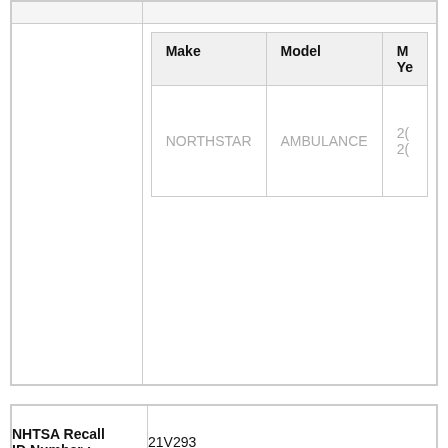|  | Make | Model | Model Years |
| --- | --- | --- | --- |
|  | NORTHSTAR | AMBULANCE | 20...
20... |
| Field | Value |
| --- | --- |
| NHTSA Recall ID Number : | 21V293 |
| Manufacturer : | Mack Trucks, Inc. |
| Subject : | Insufficient Lubrication in Steering Transfer Case |
|  | Make | Model | Model Years |